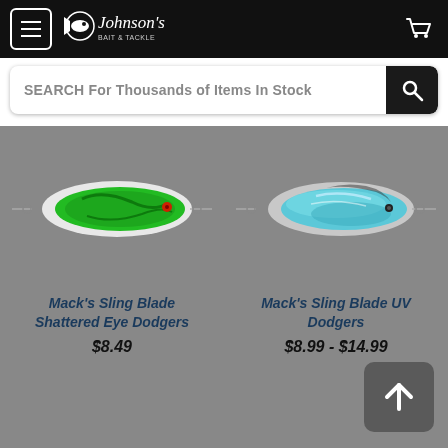Johnson's Bait & Tackle — SEARCH For Thousands of Items In Stock
[Figure (photo): Green fishing dodger lure with red eye — Mack's Sling Blade Shattered Eye Dodger]
[Figure (photo): Blue/teal UV fishing dodger lure — Mack's Sling Blade UV Dodger]
Mack's Sling Blade Shattered Eye Dodgers
$8.49
Mack's Sling Blade UV Dodgers
$8.99 - $14.99